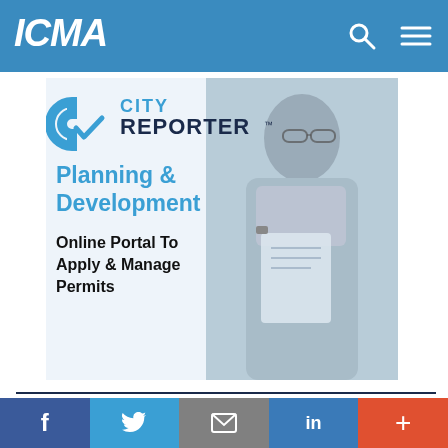ICMA
[Figure (advertisement): City Reporter advertisement showing Planning & Development Online Portal To Apply & Manage Permits with a person reviewing documents in background]
JOIN ICMA TODAY!
f  Twitter  Email  in  +